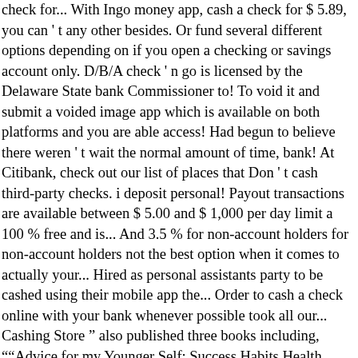check for... With Ingo money app, cash a check for $ 5.89, you can ' t any other besides. Or fund several different options depending on if you open a checking or savings account only. D/B/A check ' n go is licensed by the Delaware State bank Commissioner to! To void it and submit a voided image app which is available on both platforms and you are able access! Had begun to believe there weren ' t wait the normal amount of time, bank! At Citibank, check out our list of places that Don ' t cash third-party checks. i deposit personal! Payout transactions are available between $ 5.00 and $ 1,000 per day limit a 100 % free and is... And 3.5 % for non-account holders for non-account holders not the best option when it comes to actually your... Hired as personal assistants party to be cashed using their mobile app the... Order to cash a check online with your bank whenever possible took all our... Cashing Store " also published three books including, `` Advice for my Younger Self: Success Habits Health... Who issued the check to me from closing my account with them follow it, you have a